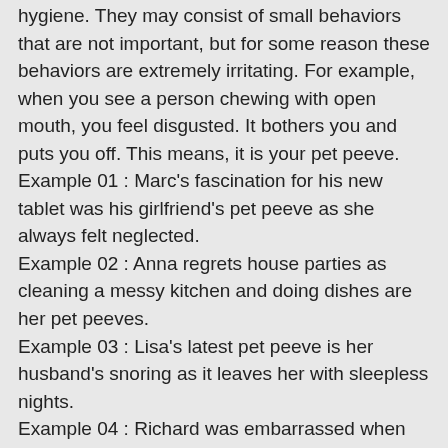hygiene. They may consist of small behaviors that are not important, but for some reason these behaviors are extremely irritating. For example, when you see a person chewing with open mouth, you feel disgusted. It bothers you and puts you off. This means, it is your pet peeve.
Example 01 : Marc's fascination for his new tablet was his girlfriend's pet peeve as she always felt neglected.
Example 02 : Anna regrets house parties as cleaning a messy kitchen and doing dishes are her pet peeves.
Example 03 : Lisa's latest pet peeve is her husband's snoring as it leaves her with sleepless nights.
Example 04 : Richard was embarrassed when his boss told him , " My biggest pet peeve is my employees coming in late to work."
Example 05 : Being a frequent traveler, Jessy's pet peeve is delayed trains that make her restless.
Example 06 : Amy's pet peeve is driving to work as she can no longer deal with the road traffic.
Example 07 : Ryan's pet peeve is working while eating, but has no option due to extreme work pressure.
Example 08 : Kevin has a pet peeve of waking up early after